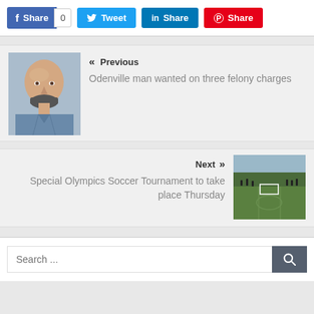[Figure (other): Social share buttons: Facebook Share (0), Tweet, LinkedIn Share, Pinterest Share]
[Figure (photo): Mugshot of bald man with beard]
« Previous
Odenville man wanted on three felony charges
[Figure (photo): Soccer field photo]
Next »
Special Olympics Soccer Tournament to take place Thursday
Search ...